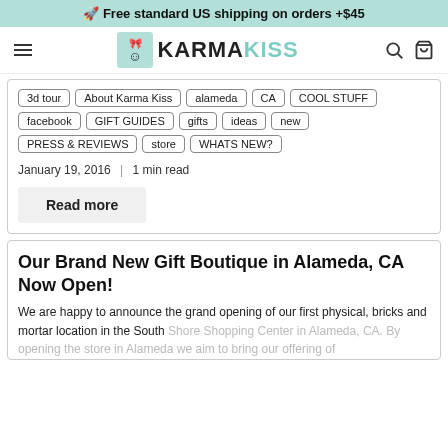🚀 Free standard US shipping on orders +$45
KARMAKISS navigation header with logo, hamburger menu, search and cart icons
3d tour
About Karma Kiss
alameda
CA
COOL STUFF
facebook
GIFT GUIDES
gifts
ideas
new
PRESS & REVIEWS
store
WHATS NEW?
January 19, 2016 | 1 min read
Read more
Our Brand New Gift Boutique in Alameda, CA Now Open!
We are happy to announce the grand opening of our first physical, bricks and mortar location in the South Shore Shopping Center in Alameda, CA. By opening the store in Alameda we aim to bring our  offering of